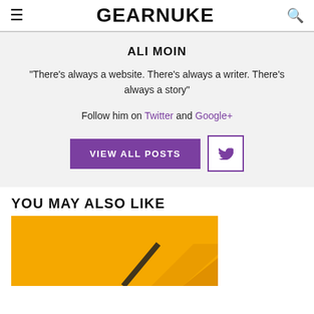GEARNUKE
ALI MOIN
"There's always a website. There's always a writer. There's always a story"
Follow him on Twitter and Google+
VIEW ALL POSTS
YOU MAY ALSO LIKE
[Figure (photo): Yellow/gold colored image card partially visible at bottom of page]